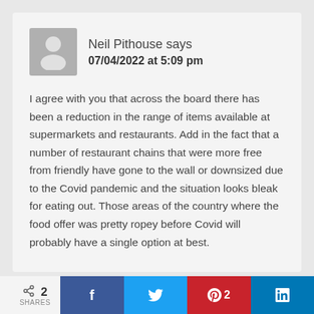Neil Pithouse says
07/04/2022 at 5:09 pm
I agree with you that across the board there has been a reduction in the range of items available at supermarkets and restaurants. Add in the fact that a number of restaurant chains that were more free from friendly have gone to the wall or downsized due to the Covid pandemic and the situation looks bleak for eating out. Those areas of the country where the food offer was pretty ropey before Covid will probably have a single option at best.
2 SHARES  f  [twitter]  p 2  in